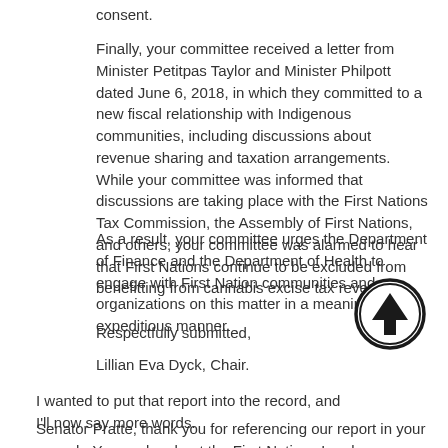consent.
Finally, your committee received a letter from Minister Petitpas Taylor and Minister Philpott dated June 6, 2018, in which they committed to a new fiscal relationship with Indigenous communities, including discussions about revenue sharing and taxation arrangements. While your committee was informed that discussions are taking place with the First Nations Tax Commission, the Assembly of First Nations, and others, your committee was alarmed to hear that First Nations continue to be excluded from benefitting from cannabis excise tax revenue.
As a result, your committee urges the Department of Finance and the Department of Health to engage with First Nation communities and organizations on this matter in a meaningful, and expeditious manner.
Respectfully submitted,
Lillian Eva Dyck, Chair.
I wanted to put that report into the record, and I'll now say more words.
Senator Pratte, thank you for referencing our report in your speech. You spoke about the First Nations Land Management Act, the concerns raised in regard to the Additions to Reserves and the